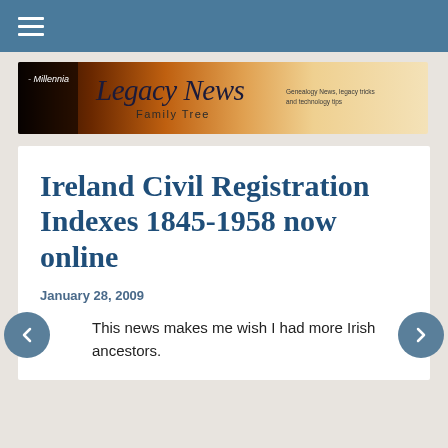≡
[Figure (illustration): Millennia Legacy News Family Tree banner with dark fiery background on left and light golden background on right, featuring stylized script text 'Legacy News' and 'Family Tree' subtitle]
Ireland Civil Registration Indexes 1845-1958 now online
January 28, 2009
This news makes me wish I had more Irish ancestors.